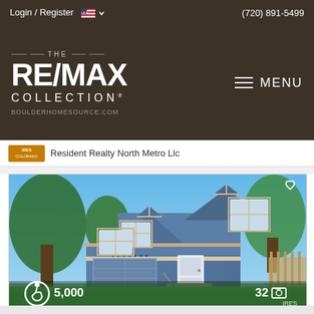Login / Register  (720) 891-5499
[Figure (logo): THE RE/MAX COLLECTION logo with BOULDERHOMESOURCE.COM and hamburger MENU button]
Resident Realty North Metro Llc
[Figure (photo): Two-story blue house with white trim, peaked gables, attached garage with ramp, green lawn, trees, clear blue sky. Heart/favorite icon in upper right. Wheelchair accessible icon and price ($,000) in lower left. Photo count 32 with camera icon in lower right. IRES watermark.]